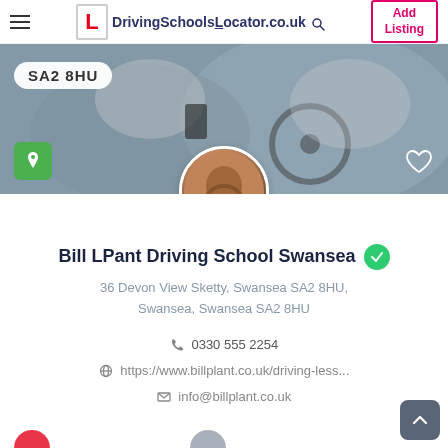DrivingSchoolsLocator.co.uk — Add Listing
[Figure (photo): Hero banner showing two people in a car, one holding a mobile phone. Overlaid with SA2 8HU badge, green map pin button, and heart icon.]
[Figure (photo): Circular profile photo of a person driving a car, positioned at the bottom center of the hero banner.]
Bill LPant Driving School Swansea
36 Devon View Sketty, Swansea SA2 8HU, Swansea, Swansea SA2 8HU
0330 555 2254
https://www.billplant.co.uk/driving-less...
info@billplant.co.uk